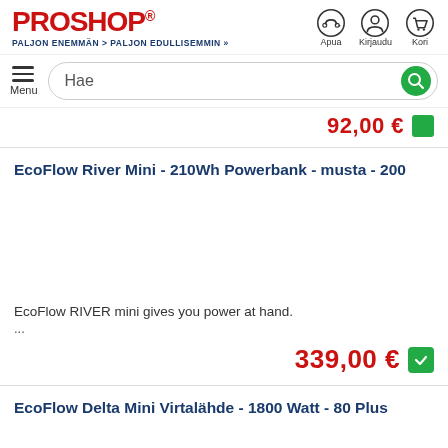[Figure (logo): Proshop logo in red bold text with registered trademark, subtitle: PALJON ENEMMÄN > PALJON EDULLISEMMIN >>]
[Figure (infographic): Header icons: headset (Apua), person (Kirjaudu), shopping cart (Kori)]
[Figure (screenshot): Navigation bar with hamburger Menu icon and search bar with green search button containing magnifying glass icon and text 'Hae']
92,00 €
EcoFlow River Mini - 210Wh Powerbank - musta - 200
EcoFlow RIVER mini gives you power at hand.
...
339,00 €
EcoFlow Delta Mini Virtalähde - 1800 Watt - 80 Plus